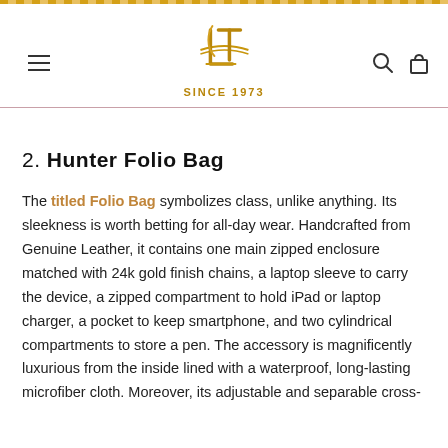LT SINCE 1973 — site header with logo, hamburger menu, search and bag icons
2. Hunter Folio Bag
The titled Folio Bag symbolizes class, unlike anything. Its sleekness is worth betting for all-day wear. Handcrafted from Genuine Leather, it contains one main zipped enclosure matched with 24k gold finish chains, a laptop sleeve to carry the device, a zipped compartment to hold iPad or laptop charger, a pocket to keep smartphone, and two cylindrical compartments to store a pen. The accessory is magnificently luxurious from the inside lined with a waterproof, long-lasting microfiber cloth. Moreover, its adjustable and separable cross-